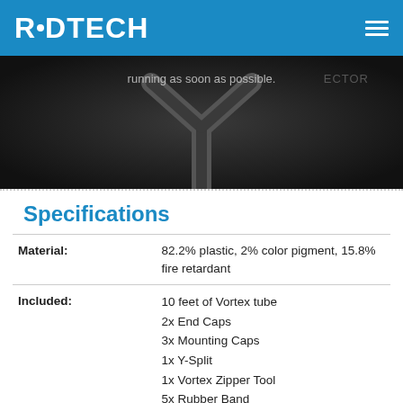RADTECH
[Figure (photo): Dark product photo showing a Y-shaped connector/tube component. Overlay text reads 'running as soon as possible.' with 'ECTOR' visible at right.]
Specifications
| Field | Value |
| --- | --- |
| Material: | 82.2% plastic, 2% color pigment, 15.8% fire retardant |
| Included: | 10 feet of Vortex tube
2x End Caps
3x Mounting Caps
1x Y-Split
1x Vortex Zipper Tool
5x Rubber Band |
| Available Colors: | White, Black |
| Origin: | Designed in USA, Assy in China |